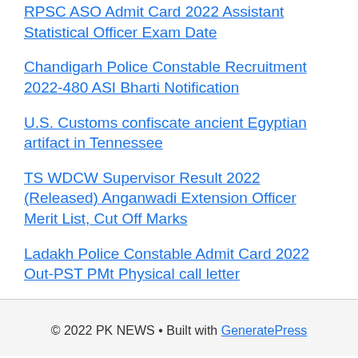RPSC ASO Admit Card 2022 Assistant Statistical Officer Exam Date
Chandigarh Police Constable Recruitment 2022-480 ASI Bharti Notification
U.S. Customs confiscate ancient Egyptian artifact in Tennessee
TS WDCW Supervisor Result 2022 (Released) Anganwadi Extension Officer Merit List, Cut Off Marks
Ladakh Police Constable Admit Card 2022 Out-PST PMt Physical call letter
© 2022 PK NEWS • Built with GeneratePress